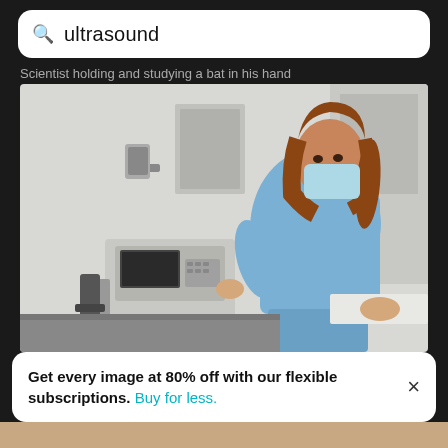ultrasound
Scientist holding and studying a bat in his hand
[Figure (photo): Side view of a female healthcare worker in blue scrubs and face mask operating an ultrasound machine. A patient is lying on the examination table. Medical clinic setting with equipment visible.]
Side view of woman standing against ceiling
Get every image at 80% off with our flexible subscriptions. Buy for less.